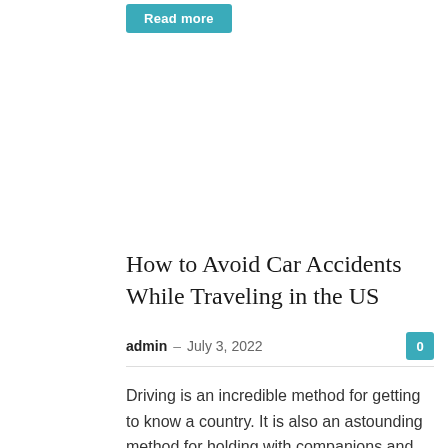Read more
How to Avoid Car Accidents While Traveling in the US
admin – July 3, 2022   0
Driving is an incredible method for getting to know a country. It is also an astounding method for holding with companions and seeing and experiencing substantially more than you would in the event that